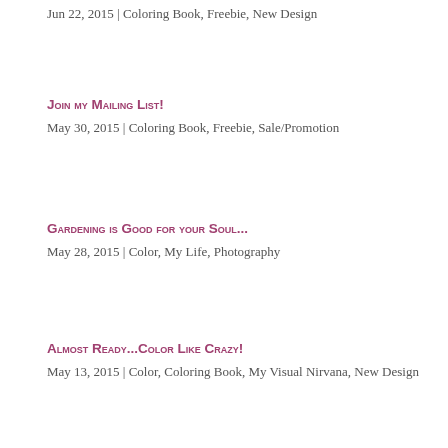Jun 22, 2015 | Coloring Book, Freebie, New Design
Join my Mailing List!
May 30, 2015 | Coloring Book, Freebie, Sale/Promotion
Gardening is Good for your Soul...
May 28, 2015 | Color, My Life, Photography
Almost Ready...Color Like Crazy!
May 13, 2015 | Color, Coloring Book, My Visual Nirvana, New Design